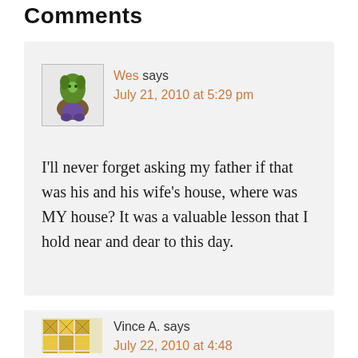Comments
Wes says July 21, 2010 at 5:29 pm
I'll never forget asking my father if that was his and his wife's house, where was MY house? It was a valuable lesson that I hold near and dear to this day.
Vince A. says July 22, 2010 at 4:48